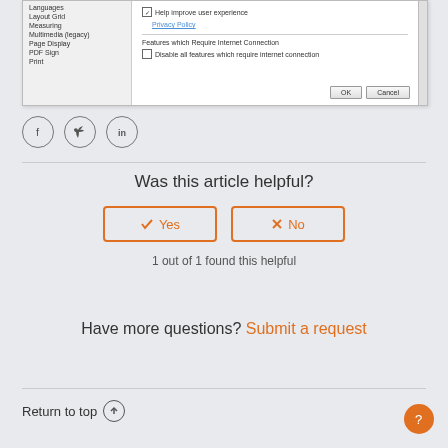[Figure (screenshot): Partial screenshot of a software preferences/settings dialog showing a list of categories on the left (Languages, Layout Grid, Measuring, Multimedia (legacy), Page Display, PDF Sign, Print) and on the right side options including a checked checkbox for 'Help improve user experience', a 'Privacy Policy' link, a 'Features which Require Internet Connection' section with a checkbox 'Disable all features which require internet connection', and OK/Cancel buttons at the bottom.]
[Figure (infographic): Three circular social media icons: Facebook (f), Twitter (bird), LinkedIn (in)]
Was this article helpful?
Yes
No
1 out of 1 found this helpful
Have more questions? Submit a request
Return to top ↑